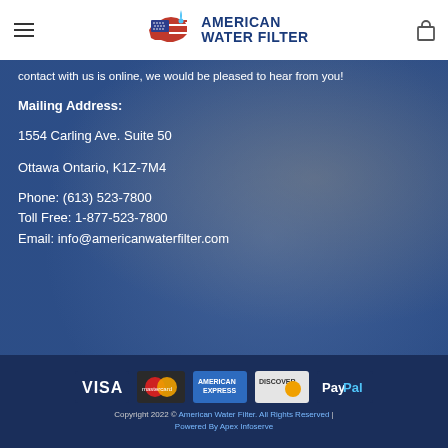American Water Filter
contact with us is online, we would be pleased to hear from you!
Mailing Address:
1554 Carling Ave. Suite 50
Ottawa Ontario, K1Z-7M4
Phone: (613) 523-7800
Toll Free: 1-877-523-7800
Email: info@americanwaterfilter.com
[Figure (logo): Payment method icons: VISA, MasterCard, American Express, Discover, PayPal]
Copyright 2022 © American Water Filter. All Rights Reserved | Powered By Apex Infoserve